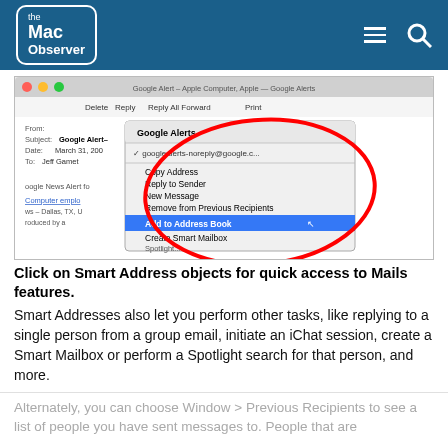The Mac Observer
[Figure (screenshot): Mac OS X Mail application window showing a dropdown context menu from a Smart Address (Google Alerts). The menu shows: googlealerts-noreply@google.c... (checked), Copy Address, Reply to Sender, New Message, Remove from Previous Recipients, Add to Address Book (highlighted in blue), Create Smart Mailbox, Spotlight... A red hand-drawn oval circles the menu. The email is from Google Alerts, subject Google Alert-, date March 31, 200, To: Jeff Gamet.]
Click on Smart Address objects for quick access to Mails features.
Smart Addresses also let you perform other tasks, like replying to a single person from a group email, initiate an iChat session, create a Smart Mailbox or perform a Spotlight search for that person, and more.
Alternately, you can choose Window > Previous Recipients to see a list of people you have sent messages to. People that are